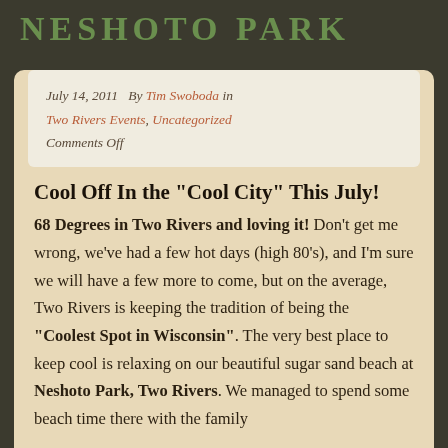NESHOTO PARK
July 14, 2011   By Tim Swoboda in Two Rivers Events, Uncategorized Comments Off
Cool Off In the "Cool City" This July!
68 Degrees in Two Rivers and loving it! Don't get me wrong, we've had a few hot days (high 80's), and I'm sure we will have a few more to come, but on the average, Two Rivers is keeping the tradition of being the "Coolest Spot in Wisconsin". The very best place to keep cool is relaxing on our beautiful sugar sand beach at Neshoto Park, Two Rivers. We managed to spend some beach time there with the family…